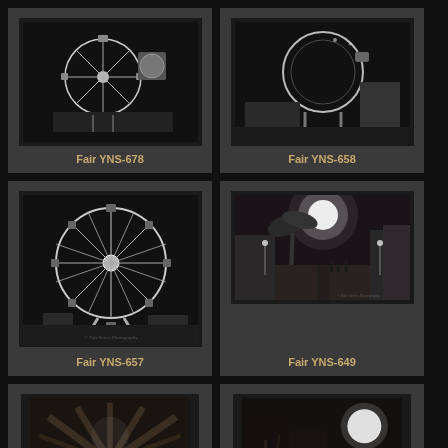[Figure (photo): Black and white photo of fair rides including ferris wheel and swing ride at night]
Fair YNS-678
[Figure (photo): Black and white photo of a loop ride at a fair at night]
Fair YNS-658
[Figure (photo): Black and white photo of a large ferris wheel at a fair]
Fair YNS-657
[Figure (photo): Black and white photo of a boardwalk or midway at a fair with palm trees and lights]
Fair YNS-649
[Figure (photo): Black and white photo of palm trees at a fair, partially visible]
[Figure (photo): Black and white photo partially visible at bottom of page]